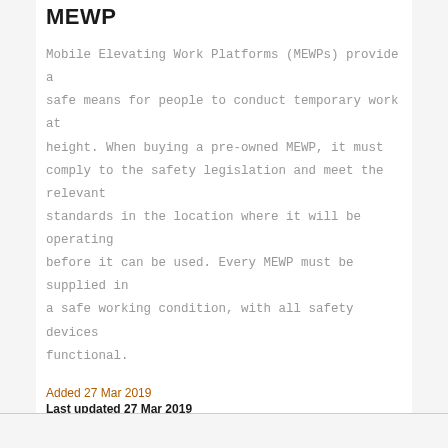MEWP
Mobile Elevating Work Platforms (MEWPs) provide a safe means for people to conduct temporary work at height. When buying a pre-owned MEWP, it must comply to the safety legislation and meet the relevant standards in the location where it will be operating before it can be used. Every MEWP must be supplied in a safe working condition, with all safety devices functional.
Added 27 Mar 2019
Last updated 27 Mar 2019
Resource also available in:
Select language